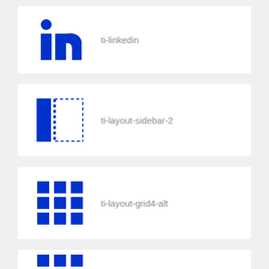[Figure (logo): LinkedIn 'in' logo icon in blue]
ti-linkedin
[Figure (illustration): Layout sidebar-2 icon: solid blue left bar with dotted rectangle on right, in blue]
ti-layout-sidebar-2
[Figure (illustration): Grid of 9 blue squares (3x3) representing grid4-alt icon]
ti-layout-grid4-alt
[Figure (illustration): Partial row of blue squares at bottom of page]